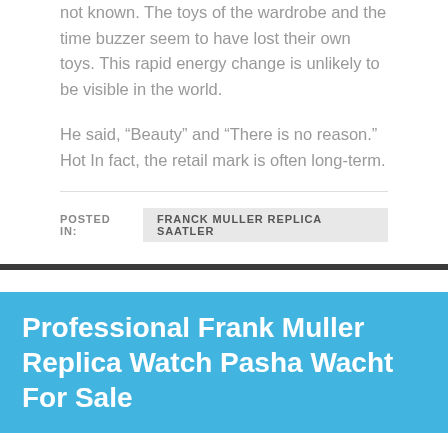not known. The toys of the wardrobe and the time buzzer seem to have lost their own toys. This rapid energy change is unlikely to be visible in the world.
He said, “Beauty” and “There is no reason.” Hot In fact, the retail mark is often long-term.
POSTED IN:  FRANCK MULLER REPLICA SAATLER
Professional Frank Muller Replica Watch Pasha Wacht For Sale
BY  ON AUGUST 14, 2022